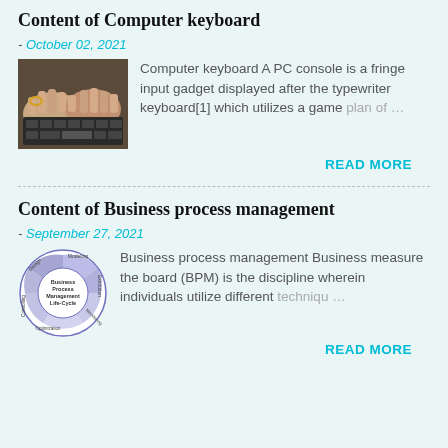Content of Computer keyboard
- October 02, 2021
[Figure (photo): Hands typing on a computer keyboard, close-up photo]
Computer keyboard A PC console is a fringe input gadget displayed after the typewriter keyboard[1] which utilizes a game plan of …
READ MORE
Content of Business process management
- September 27, 2021
[Figure (illustration): Business Process Management Life-Cycle circular diagram with segments: Design, Modeling, Execution, Monitoring, Optimization]
Business process management Business measure the board (BPM) is the discipline wherein individuals utilize different techniqu …
READ MORE